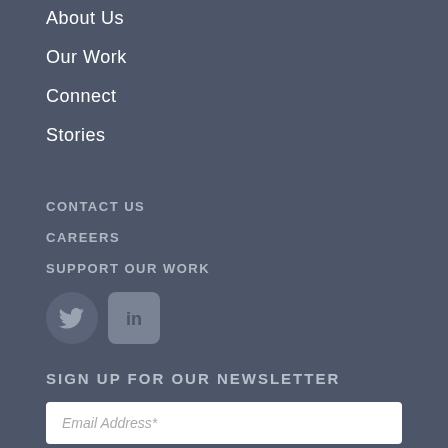About Us
Our Work
Connect
Stories
CONTACT US
CAREERS
SUPPORT OUR WORK
[Figure (logo): Twitter and LinkedIn social media icons]
SIGN UP FOR OUR NEWSLETTER
Email Address*